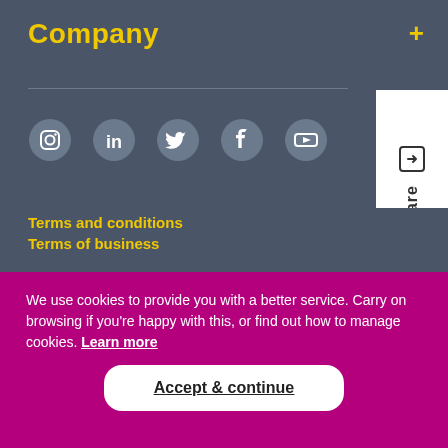Company
[Figure (infographic): Social media icons row: Instagram, LinkedIn, Twitter, Facebook, YouTube]
[Figure (infographic): Share panel on right side with share icon and rotated 'Share' text]
Terms and conditions
Terms of business
We use cookies to provide you with a better service. Carry on browsing if you're happy with this, or find out how to manage cookies. Learn more
Accept & continue